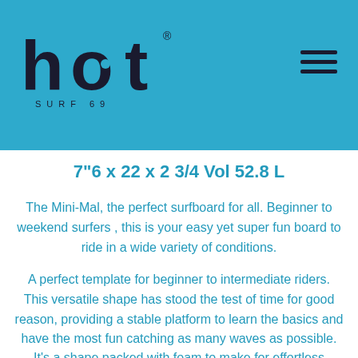hot SURF 69 logo with hamburger menu
7"6 x 22 x 2 3/4 Vol 52.8 L
The Mini-Mal, the perfect surfboard for all. Beginner to weekend surfers , this is your easy yet super fun board to ride in a wide variety of conditions.
A perfect template for beginner to intermediate riders. This versatile shape has stood the test of time for good reason, providing a stable platform to learn the basics and have the most fun catching as many waves as possible.
It's a shape packed with foam to make for effortless